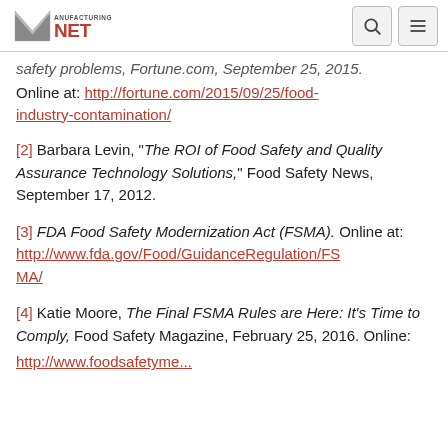Manufacturing.net
safety problems, Fortune.com, September 25, 2015. Online at: http://fortune.com/2015/09/25/food-industry-contamination/
[2] Barbara Levin, “The ROI of Food Safety and Quality Assurance Technology Solutions,” Food Safety News, September 17, 2012.
[3] FDA Food Safety Modernization Act (FSMA). Online at: http://www.fda.gov/Food/GuidanceRegulation/FSMA/
[4] Katie Moore, The Final FSMA Rules are Here: It’s Time to Comply, Food Safety Magazine, February 25, 2016. Online: